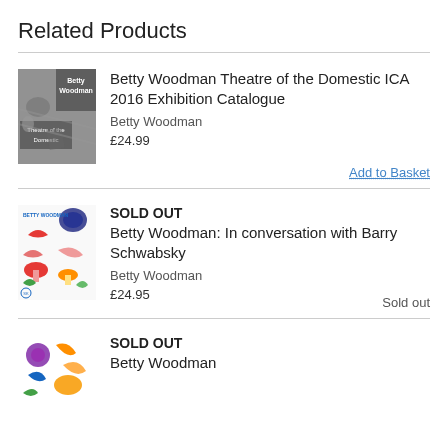Related Products
Betty Woodman Theatre of the Domestic ICA 2016 Exhibition Catalogue
Betty Woodman
£24.99
SOLD OUT
Betty Woodman: In conversation with Barry Schwabsky
Betty Woodman
£24.95
SOLD OUT
Betty Woodman